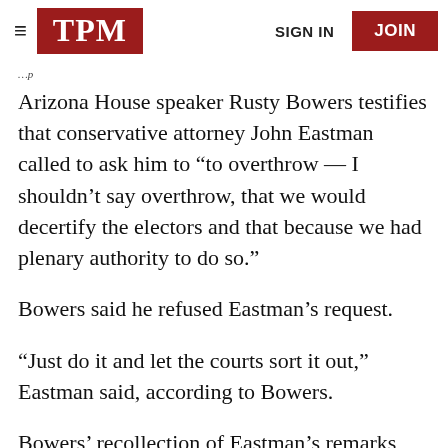TPM | SIGN IN | JOIN
Arizona House speaker Rusty Bowers testifies that conservative attorney John Eastman called to ask him to “to overthrow — I shouldn’t say overthrow, that we would decertify the electors and that because we had plenary authority to do so.”
Bowers said he refused Eastman’s request.
“Just do it and let the courts sort it out,” Eastman said, according to Bowers.
Bowers’ recollection of Eastman’s remarks follows his claim earlier that Giuliani said during a meeting with him and others about the electors.